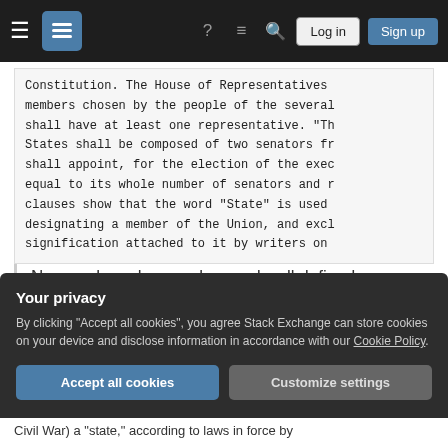Navigation bar with Stack Exchange logo, hamburger menu, icons, Log in and Sign up buttons
Constitution. The House of Representatives members chosen by the people of the several shall have at least one representative. "Th States shall be composed of two senators fr shall appoint, for the election of the exec equal to its whole number of senators and r clauses show that the word "State" is used designating a member of the Union, and excl signification attached to it by writers on
Now we have here a clear and well defined test by which we may arrive at a conclusion
Your privacy
By clicking "Accept all cookies", you agree Stack Exchange can store cookies on your device and disclose information in accordance with our Cookie Policy.
Accept all cookies
Customize settings
Civil War) a "state," according to laws in force by